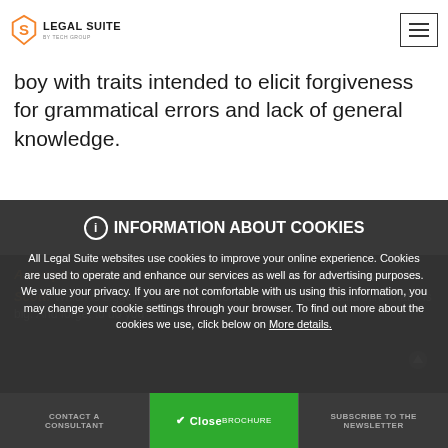[Figure (logo): Legal Suite logo with orange stylized S icon and company name]
boy with traits intended to elicit forgiveness for grammatical errors and lack of general knowledge.
A sample of one of the conversations:
INFORMATION ABOUT COOKIES
All Legal Suite websites use cookies to improve your online experience. Cookies are used to operate and enhance our services as well as for advertising purposes. We value your privacy. If you are not comfortable with us using this information, you may change your cookie settings through your browser. To find out more about the cookies we use, click below on More details.
Scott: Which is bigger, a she-boy or Mount Everest? You should think that it is big. And forget to do you
CONTACT A CONSULTANT | BROCHURE | SUBSCRIBE TO THE NEWSLETTER